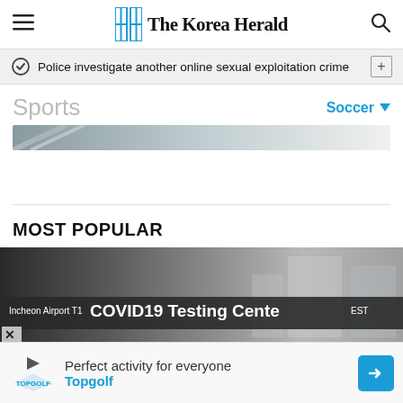The Korea Herald
Police investigate another online sexual exploitation crime
Sports
Soccer
[Figure (photo): Partial sports article image strip]
MOST POPULAR
[Figure (photo): Incheon Airport T1 COVID19 Testing Center sign]
Perfect activity for everyone
Topgolf